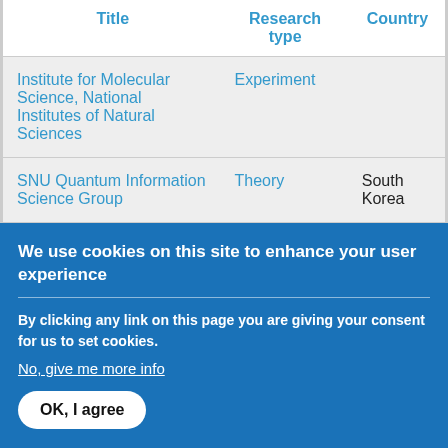| Title | Research type | Country |
| --- | --- | --- |
| Institute for Molecular Science, National Institutes of Natural Sciences | Experiment |  |
| SNU Quantum Information Science Group | Theory | South Korea |
We use cookies on this site to enhance your user experience
By clicking any link on this page you are giving your consent for us to set cookies.
No, give me more info
OK, I agree